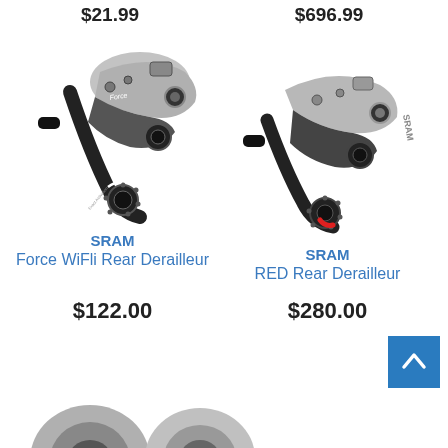$21.99
$696.99
[Figure (photo): SRAM Force WiFli Rear Derailleur product photo - silver and black bicycle rear derailleur]
SRAM
Force WiFli Rear Derailleur
$122.00
[Figure (photo): SRAM RED Rear Derailleur product photo - silver and black bicycle rear derailleur with red accent]
SRAM
RED Rear Derailleur
$280.00
[Figure (photo): Partial view of bicycle components at the bottom of the page]